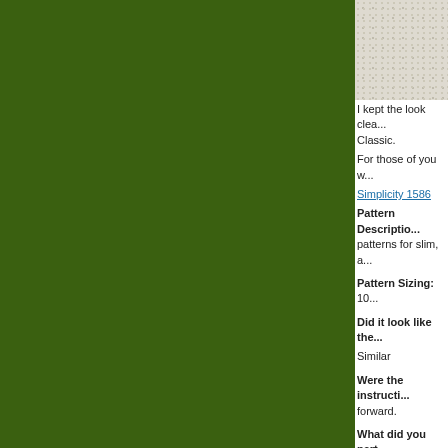[Figure (photo): Close-up photo of a textured white/cream sandy or grainy surface, partially cropped at top of right panel]
I kept the look clea... Classic.
For those of you w...
Simplicity 1586
Pattern Description: patterns for slim, a...
Pattern Sizing: 10...
Did it look like the...
Similar
Were the instructi...
forward.
What did you part...